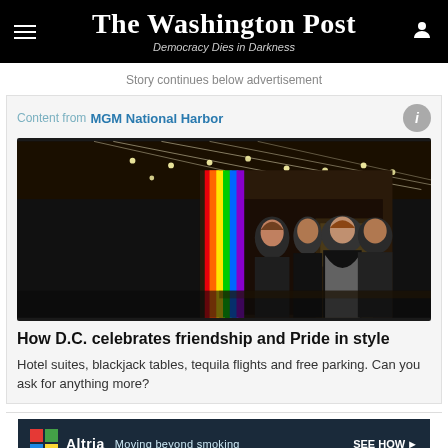The Washington Post — Democracy Dies in Darkness
Story continues below advertisement
Content from MGM National Harbor
[Figure (photo): Group of four people walking out of MGM National Harbor at night, with colorful lights and chandeliers in the background]
How D.C. celebrates friendship and Pride in style
Hotel suites, blackjack tables, tequila flights and free parking. Can you ask for anything more?
[Figure (screenshot): Altria advertisement: Moving beyond smoking — SEE HOW]